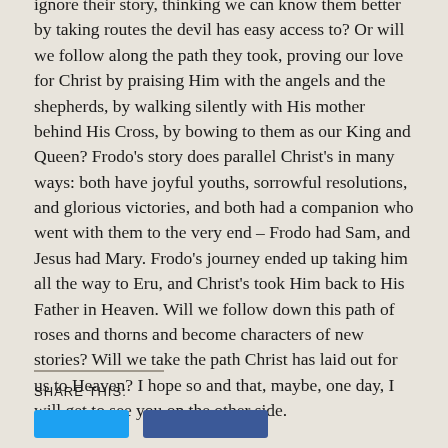ignore their story, thinking we can know them better by taking routes the devil has easy access to? Or will we follow along the path they took, proving our love for Christ by praising Him with the angels and the shepherds, by walking silently with His mother behind His Cross, by bowing to them as our King and Queen? Frodo's story does parallel Christ's in many ways: both have joyful youths, sorrowful resolutions, and glorious victories, and both had a companion who went with them to the very end – Frodo had Sam, and Jesus had Mary. Frodo's journey ended up taking him all the way to Eru, and Christ's took Him back to His Father in Heaven. Will we follow down this path of roses and thorns and become characters of new stories? Will we take the path Christ has laid out for us to Heaven? I hope so and that, maybe, one day, I will get to see you on the other side.
SHARE THIS: